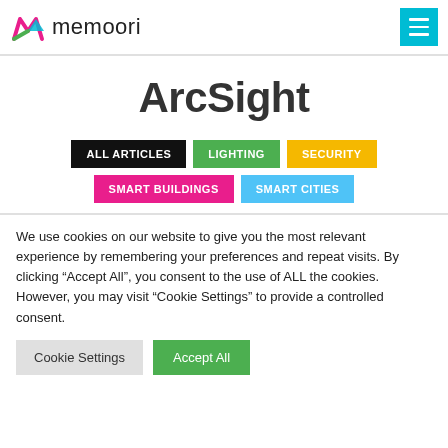memoori
ArcSight
ALL ARTICLES
LIGHTING
SECURITY
SMART BUILDINGS
SMART CITIES
We use cookies on our website to give you the most relevant experience by remembering your preferences and repeat visits. By clicking "Accept All", you consent to the use of ALL the cookies. However, you may visit "Cookie Settings" to provide a controlled consent.
Cookie Settings | Accept All